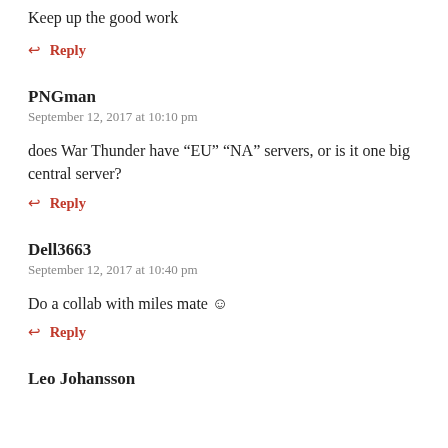Keep up the good work
↩ Reply
PNGman
September 12, 2017 at 10:10 pm
does War Thunder have “EU” “NA” servers, or is it one big central server?
↩ Reply
Dell3663
September 12, 2017 at 10:40 pm
Do a collab with miles mate ☺
↩ Reply
Leo Johansson